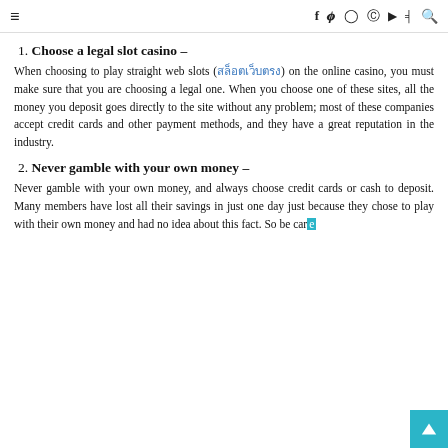≡  f  ψ  ⊙  ⊕  ▶  )))  🔍
1. Choose a legal slot casino –
When choosing to play straight web slots (สล็อตเว็บตรง) on the online casino, you must make sure that you are choosing a legal one. When you choose one of these sites, all the money you deposit goes directly to the site without any problem; most of these companies accept credit cards and other payment methods, and they have a great reputation in the industry.
2. Never gamble with your own money –
Never gamble with your own money, and always choose credit cards or cash to deposit. Many members have lost all their savings in just one day just because they chose to play with their own money and had no idea about this fact. So be care...